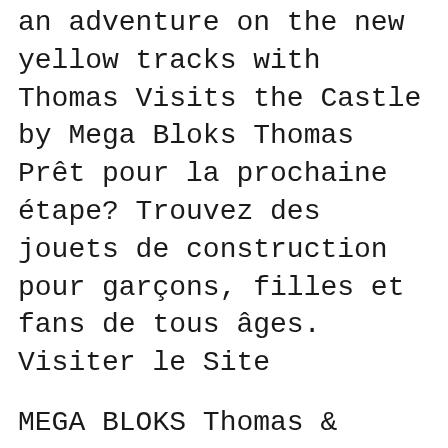an adventure on the new yellow tracks with Thomas Visits the Castle by Mega Bloks Thomas Prêt pour la prochaine étape? Trouvez des jouets de construction pour garçons, filles et fans de tous âges. Visiter le Site
MEGA BLOKS Thomas & Friends Sights of Sodor Thomas at The Mill Train Set. 15 Pieces . 0 Reviews. MEGA BLOKS Mega Construx Halo … Mega Bloks Thomas and Friends, Thomas in Building Sets.
This is a gallery subpage for Mega Bloks. This subpage contains all images relating to said article. If there is an image that belongs on this article,